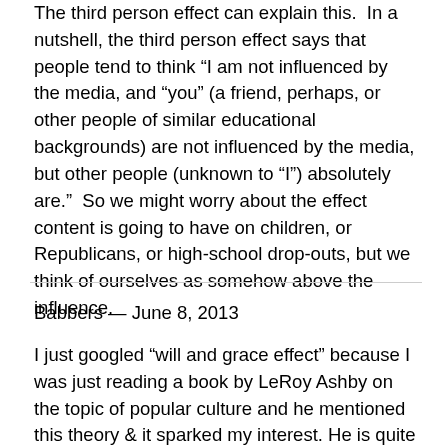The third person effect can explain this. In a nutshell, the third person effect says that people tend to think "I am not influenced by the media, and "you" (a friend, perhaps, or other people of similar educational backgrounds) are not influenced by the media, but other people (unknown to "I") absolutely are."  So we might worry about the effect content is going to have on children, or Republicans, or high-school drop-outs, but we think of ourselves as somehow above the influence.
Babbers — June 8, 2013
I just googled "will and grace effect" because I was just reading a book by LeRoy Ashby on the topic of popular culture and he mentioned this theory & it sparked my interest. He is quite scholarly in his writing & in my experience - he's not one to be politically motivated or biased. Anyway, he references a 2000 poll where 25% of Americans supported gay marriage. He then references a 2009 poll that showed 50% of Americans being supportive of gay marriage. A follow up to be completed with...